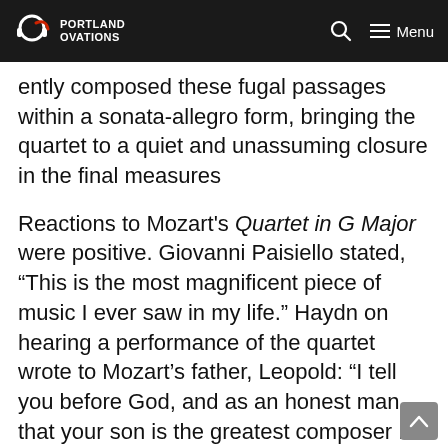Portland Ovations — navigation bar with logo, search, and menu
alternate with more homophonic interludes. ently composed these fugal passages within a sonata-allegro form, bringing the quartet to a quiet and unassuming closure in the final measures
Reactions to Mozart's Quartet in G Major were positive. Giovanni Paisiello stated, “This is the most magnificent piece of music I ever saw in my life.” Haydn on hearing a performance of the quartet wrote to Mozart’s father, Leopold: “I tell you before God, and as an honest man, that your son is the greatest composer I know, either personally or by reputation; he has taste and moreover the greatest possible knowledge of the science of